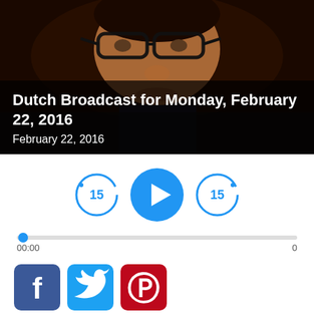[Figure (photo): Close-up photo of a man wearing glasses, dark background, partially obscured face]
Dutch Broadcast for Monday, February 22, 2016
February 22, 2016
[Figure (infographic): Audio player controls: rewind 15s button, play button, forward 15s button, progress bar showing 00:00 and 0]
[Figure (infographic): Social share buttons: Facebook, Twitter, Pinterest]
PODCAST
FREE MP3